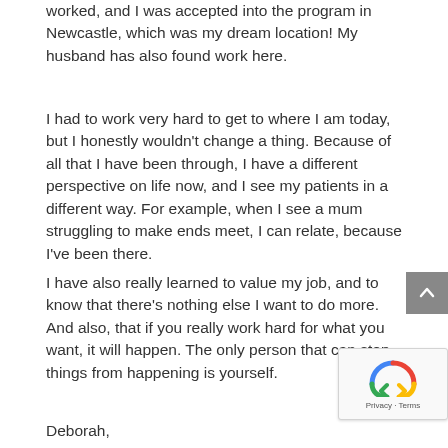worked, and I was accepted into the program in Newcastle, which was my dream location! My husband has also found work here.
I had to work very hard to get to where I am today, but I honestly wouldn't change a thing. Because of all that I have been through, I have a different perspective on life now, and I see my patients in a different way. For example, when I see a mum struggling to make ends meet, I can relate, because I've been there.
I have also really learned to value my job, and to know that there's nothing else I want to do more. And also, that if you really work hard for what you want, it will happen. The only person that can stop things from happening is yourself.
Deborah,